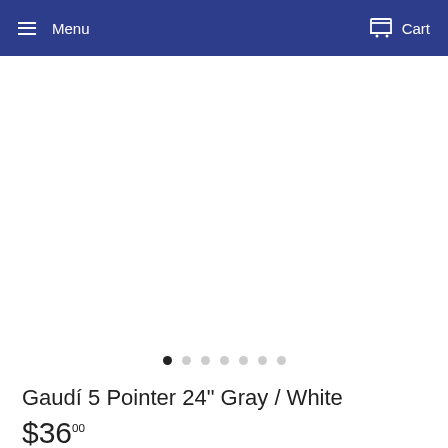Menu   Cart
[Figure (photo): Product image area (blank/white) for Gaudí 5 Pointer 24" Gray / White, with 7 image carousel dots below]
Gaudí 5 Pointer 24" Gray / White
$36.00